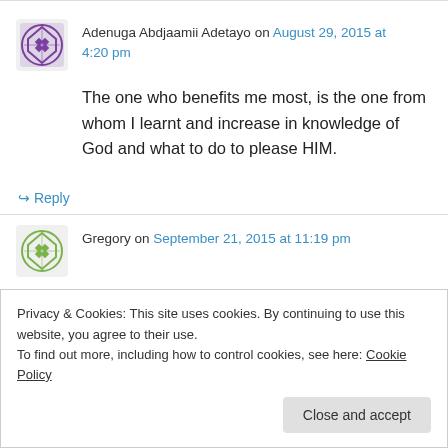Adenuga Abdjaamii Adetayo on August 29, 2015 at 4:20 pm
The one who benefits me most, is the one from whom I learnt and increase in knowledge of God and what to do to please HIM.
↳ Reply
Gregory on September 21, 2015 at 11:19 pm
Privacy & Cookies: This site uses cookies. By continuing to use this website, you agree to their use.
To find out more, including how to control cookies, see here: Cookie Policy
Close and accept
a continued union of persons in the God head...